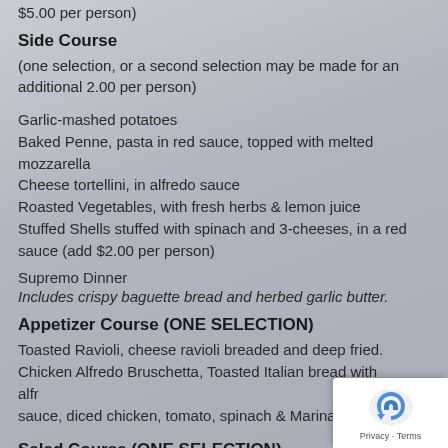$5.00 per person)
Side Course
(one selection, or a second selection may be made for an additional 2.00 per person)
Garlic-mashed potatoes
Baked Penne, pasta in red sauce, topped with melted mozzarella
Cheese tortellini, in alfredo sauce
Roasted Vegetables, with fresh herbs & lemon juice
Stuffed Shells stuffed with spinach and 3-cheeses, in a red sauce (add $2.00 per person)
Supremo Dinner
Includes crispy baguette bread and herbed garlic butter.
Appetizer Course (ONE SELECTION)
Toasted Ravioli, cheese ravioli breaded and deep fried.
Chicken Alfredo Bruschetta, Toasted Italian bread with alfredo sauce, diced chicken, tomato, spinach & Marinara sauce
Salad Course (ONE SELECTION)